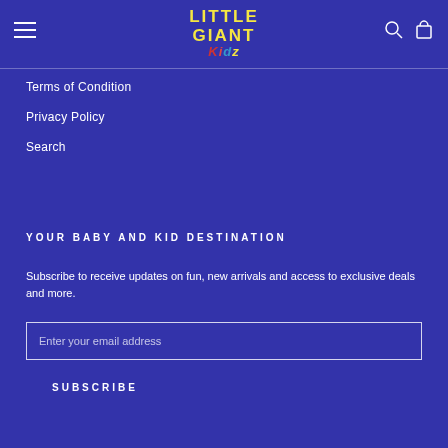LITTLE GIANT Kidz
Terms of Condition
Privacy Policy
Search
YOUR BABY AND KID DESTINATION
Subscribe to receive updates on fun, new arrivals and access to exclusive deals and more.
Enter your email address
SUBSCRIBE